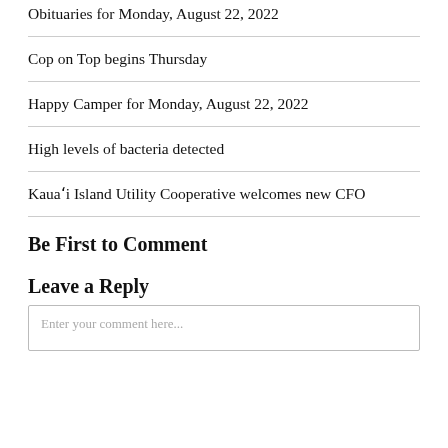Obituaries for Monday, August 22, 2022
Cop on Top begins Thursday
Happy Camper for Monday, August 22, 2022
High levels of bacteria detected
Kauaʻi Island Utility Cooperative welcomes new CFO
Be First to Comment
Leave a Reply
Enter your comment here...